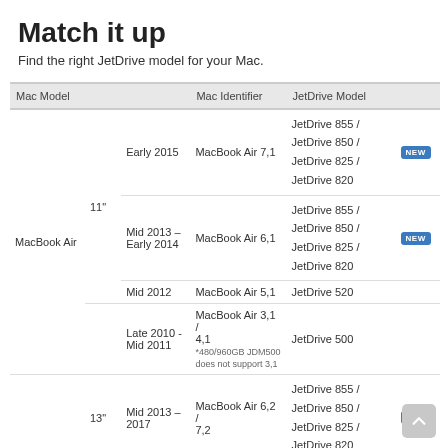Match it up
Find the right JetDrive model for your Mac.
| Mac Model |  | Mac Identifier | JetDrive Model |  |
| --- | --- | --- | --- | --- |
| MacBook Air | 11" / Early 2015 | MacBook Air 7,1 | JetDrive 855 / JetDrive 850 / JetDrive 825 / JetDrive 820 | NEW |
|  | 11" / Mid 2013 – Early 2014 | MacBook Air 6,1 | JetDrive 855 / JetDrive 850 / JetDrive 825 / JetDrive 820 | NEW |
|  | 11" / Mid 2012 | MacBook Air 5,1 | JetDrive 520 |  |
|  | 11" / Late 2010 - Mid 2011 | MacBook Air 3,1 / 4,1 *480/960GB JDM500 does not support 3,1 | JetDrive 500 |  |
|  | 13" / Mid 2013 – 2017 | MacBook Air 6,2 / 7,2 | JetDrive 855 / JetDrive 850 / JetDrive 825 / JetDrive 820 | NEW |